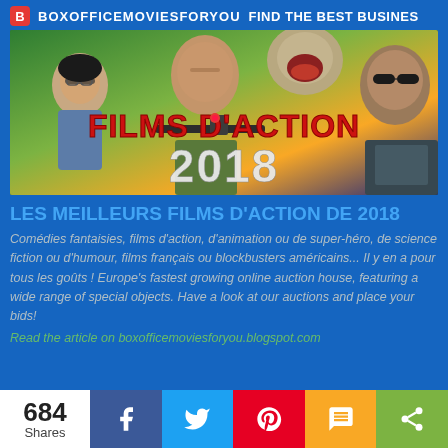BOXOFFICEMOVIESFORYOU  FIND THE BEST BUSINES
[Figure (photo): Movie poster collage for 'Films d'Action 2018' featuring multiple actors including a woman with glasses, a man with a rifle, a creature, and a man with sunglasses. Large red text reads 'FILMS D'ACTION' and large white/grey text reads '2018'.]
LES MEILLEURS FILMS D'ACTION DE 2018
Comédies fantaisies, films d'action, d'animation ou de super-héro, de science fiction ou d'humour, films français ou blockbusters américains... Il y en a pour tous les goûts ! Europe's fastest growing online auction house, featuring a wide range of special objects. Have a look at our auctions and place your bids!
Read the article on boxofficemoviesforyou.blogspot.com